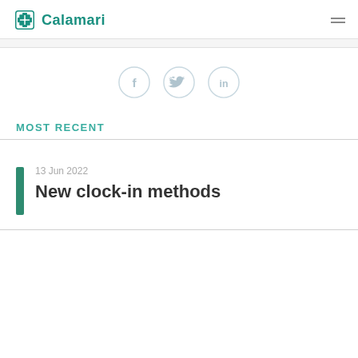Calamari
[Figure (illustration): Social sharing icons: Facebook, Twitter, LinkedIn in circular outlines]
MOST RECENT
13 Jun 2022
New clock-in methods